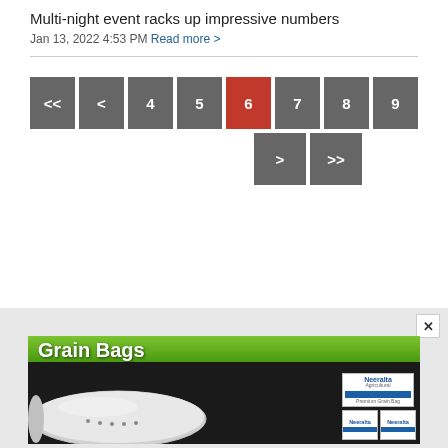Multi-night event racks up impressive numbers
Jan 13, 2022 4:53 PM Read more >
[Figure (screenshot): Pagination controls showing pages <<, <, 4, 5, 6 (active/red), 7, 8, 9, >, >>]
[Figure (photo): Advertisement banner for Grain Bags showing a grain bag and product boxes with Neeralta branding]